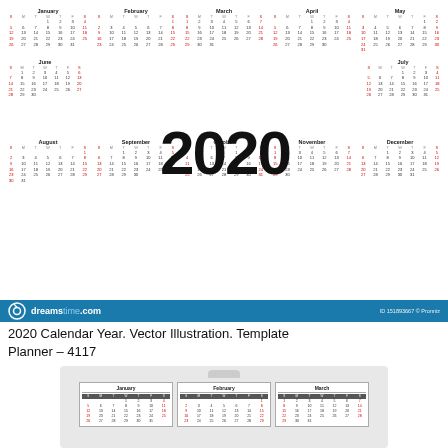[Figure (illustration): 2020 annual wall calendar showing all 12 months in a grid layout with large '2020' text in the center, with months January-May in row 1, June and July with 2020 in row 2, August-December in row 3]
[Figure (logo): Dreamstime.com watermark bar in blue with logo, site name, and image ID 151893667]
2020 Calendar Year. Vector Illustration. Template
Planner – 4117
[Figure (illustration): Small calendar planner image showing January, February, March mini calendar cards with a hanging hook at top]